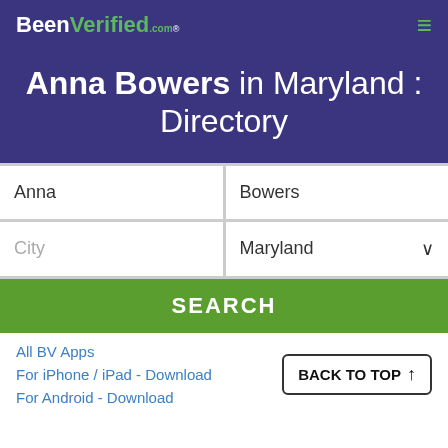BeenVerified.com
Anna Bowers in Maryland : Directory
[Figure (screenshot): Search form with fields: Anna, Bowers, City, Maryland dropdown, and SEARCH button]
All BV Apps
For iPhone / iPad - Download
For Android - Download
BACK TO TOP ↑